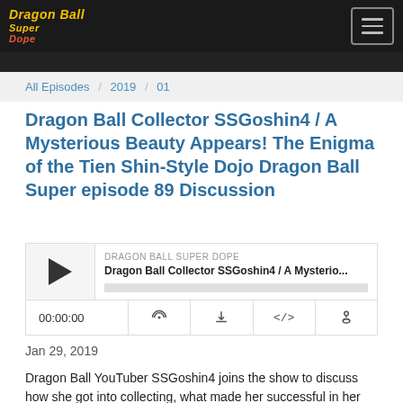Dragon Ball Super Dope
All Episodes / 2019 / 01
Dragon Ball Collector SSGoshin4 / A Mysterious Beauty Appears! The Enigma of the Tien Shin-Style Dojo Dragon Ball Super episode 89 Discussion
[Figure (screenshot): Podcast audio player widget showing play button, episode title 'Dragon Ball Collector SSGoshin4 / A Mysterio...', podcast name 'DRAGON BALL SUPER DOPE', progress bar, time counter 00:00:00, and control icons for cast, download, embed, and share]
Jan 29, 2019
Dragon Ball YouTuber SSGoshin4 joins the show to discuss how she got into collecting, what made her successful in her